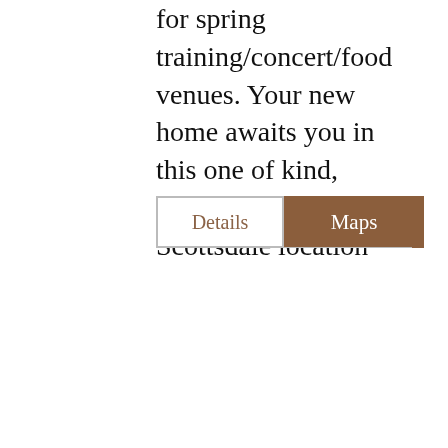for spring training/concert/food venues. Your new home awaits you in this one of kind, premium Scottsdale location
| Field | Value |
| --- | --- |
| Status Change Date: | 2021-03-24 |
| Sold Price: | S655,000 |
| Status: | Closed |
| Current Price: | S655,000 |
| List Date: | 2021-02-18 |
| Type: | ER |
| Ownership: | Fee Simple |